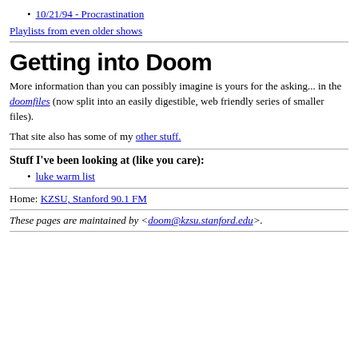10/21/94 - Procrastination
Playlists from even older shows
Getting into Doom
More information than you can possibly imagine is yours for the asking... in the doomfiles (now split into an easily digestible, web friendly series of smaller files).
That site also has some of my other stuff.
Stuff I've been looking at (like you care):
luke warm list
Home: KZSU, Stanford 90.1 FM
These pages are maintained by <doom@kzsu.stanford.edu>.